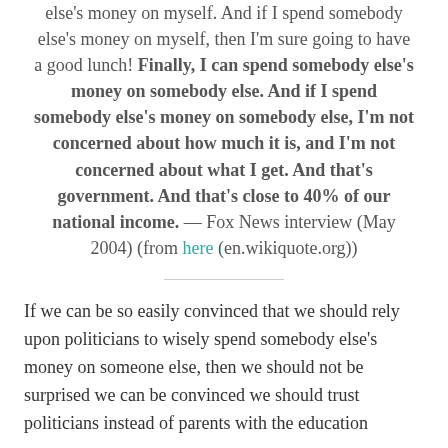else's money on myself. And if I spend somebody else's money on myself, then I'm sure going to have a good lunch! Finally, I can spend somebody else's money on somebody else. And if I spend somebody else's money on somebody else, I'm not concerned about how much it is, and I'm not concerned about what I get. And that's government. And that's close to 40% of our national income. — Fox News interview (May 2004) (from here (en.wikiquote.org))
If we can be so easily convinced that we should rely upon politicians to wisely spend somebody else's money on someone else, then we should not be surprised we can be convinced we should trust politicians instead of parents with the education